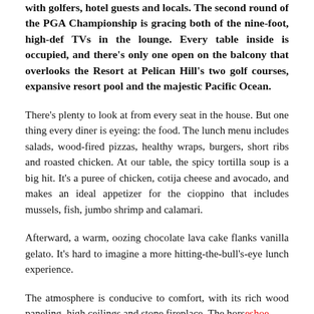with golfers, hotel guests and locals. The second round of the PGA Championship is gracing both of the nine-foot, high-def TVs in the lounge. Every table inside is occupied, and there's only one open on the balcony that overlooks the Resort at Pelican Hill's two golf courses, expansive resort pool and the majestic Pacific Ocean.
There's plenty to look at from every seat in the house. But one thing every diner is eyeing: the food. The lunch menu includes salads, wood-fired pizzas, healthy wraps, burgers, short ribs and roasted chicken. At our table, the spicy tortilla soup is a big hit. It's a puree of chicken, cotija cheese and avocado, and makes an ideal appetizer for the cioppino that includes mussels, fish, jumbo shrimp and calamari.
Afterward, a warm, oozing chocolate lava cake flanks vanilla gelato. It's hard to imagine a more hitting-the-bull's-eye lunch experience.
The atmosphere is conducive to comfort, with its rich wood paneling, high ceilings and stone fireplace. The horseshoe